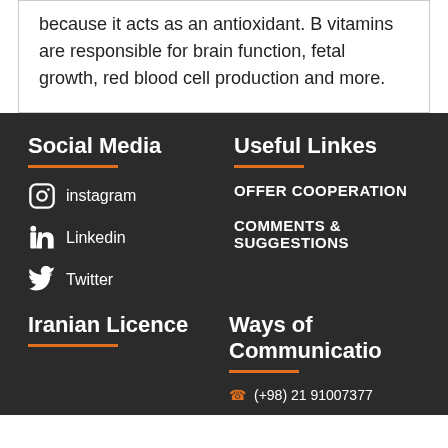because it acts as an antioxidant. B vitamins are responsible for brain function, fetal growth, red blood cell production and more.
Social Media
instagram
Linkedin
Twitter
Useful Linkes
OFFER COOPERATION
COMMENTS & SUGGESTIONS
Iranian Licence
Ways of Communication
(+98) 21 91007377